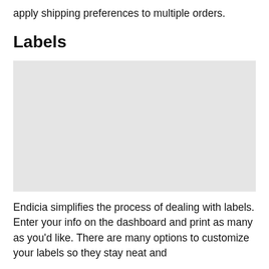apply shipping preferences to multiple orders.
Labels
[Figure (screenshot): A light gray placeholder/screenshot image representing a labels interface]
Endicia simplifies the process of dealing with labels. Enter your info on the dashboard and print as many as you'd like. There are many options to customize your labels so they stay neat and